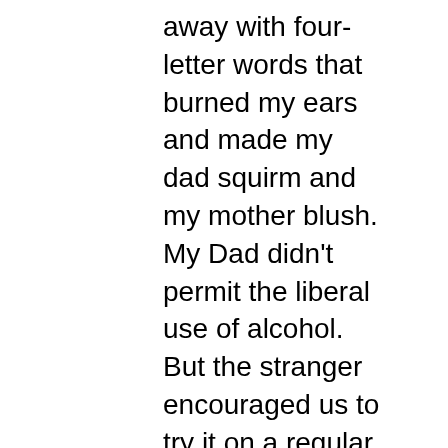away with four-letter words that burned my ears and made my dad squirm and my mother blush. My Dad didn't permit the liberal use of alcohol. But the stranger encouraged us to try it on a regular basis. He made cigarettes look cool, cigars manly and pipes distinguished